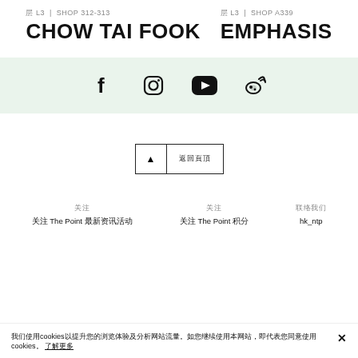层 L3 | SHOP 312-313
CHOW TAI FOOK
层 L3 | SHOP A339
EMPHASIS
[Figure (infographic): Social media icons row: Facebook, Instagram, YouTube, Weibo on a light green background]
[Figure (other): Back to top button with triangle arrow and Chinese text]
关注
关注 The Point 最新资讯活动
关注
关注 The Point 积分
联络我们
hk_ntp
我们使用cookies以提升您的浏览体验及分析网站流量。如您继续使用本网站，即代表您同意使用cookies。 了解更多 ✕